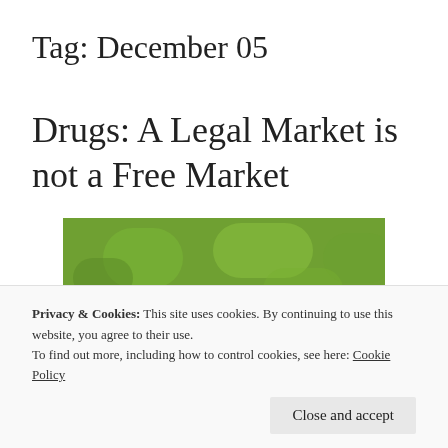Tag: December 05
Drugs: A Legal Market is not a Free Market
[Figure (photo): A blurred photo of a poppy flower with a pink/purple bud against a green leafy background.]
Privacy & Cookies: This site uses cookies. By continuing to use this website, you agree to their use.
To find out more, including how to control cookies, see here: Cookie Policy
Close and accept